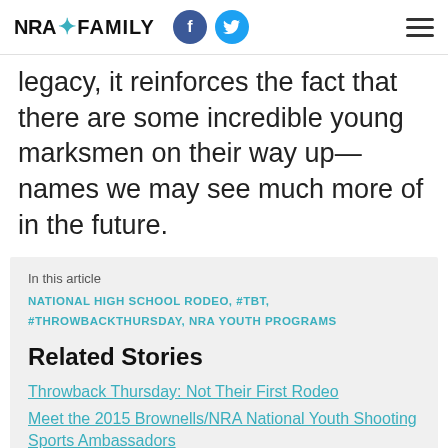NRA FAMILY
legacy, it reinforces the fact that there are some incredible young marksmen on their way up—names we may see much more of in the future.
In this article
NATIONAL HIGH SCHOOL RODEO, #TBT, #THROWBACKTHURSDAY, NRA YOUTH PROGRAMS
Related Stories
Throwback Thursday: Not Their First Rodeo
Meet the 2015 Brownells/NRA National Youth Shooting Sports Ambassadors
NRA National Youth Shooting Sports Ambassador Taylor Holland Reviews: UV Paqlite
NRA National Youth Shooting Sports